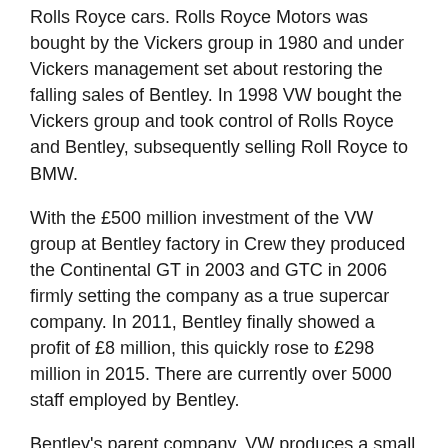Rolls Royce cars. Rolls Royce Motors was bought by the Vickers group in 1980 and under Vickers management set about restoring the falling sales of Bentley. In 1998 VW bought the Vickers group and took control of Rolls Royce and Bentley, subsequently selling Roll Royce to BMW.
With the £500 million investment of the VW group at Bentley factory in Crew they produced the Continental GT in 2003 and GTC in 2006 firmly setting the company as a true supercar company. In 2011, Bentley finally showed a profit of £8 million, this quickly rose to £298 million in 2015. There are currently over 5000 staff employed by Bentley.
Bentley's parent company, VW produces a small amount of cars in Germany, but the majority are still produced in Crewe. Unlike Ferrari or Lamborghini, Bentley has not produced that many models over the